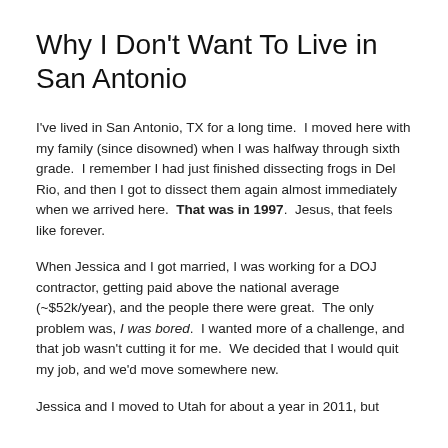Why I Don't Want To Live in San Antonio
I've lived in San Antonio, TX for a long time.  I moved here with my family (since disowned) when I was halfway through sixth grade.  I remember I had just finished dissecting frogs in Del Rio, and then I got to dissect them again almost immediately when we arrived here.  That was in 1997.  Jesus, that feels like forever.
When Jessica and I got married, I was working for a DOJ contractor, getting paid above the national average (~$52k/year), and the people there were great.  The only problem was, I was bored.  I wanted more of a challenge, and that job wasn't cutting it for me.  We decided that I would quit my job, and we'd move somewhere new.
Jessica and I moved to Utah for about a year in 2011, but